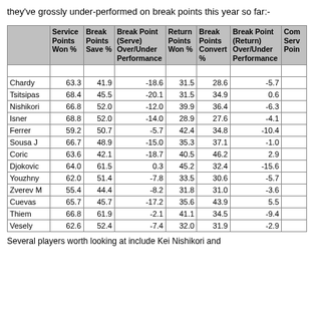they've grossly under-performed on break points this year so far:-
|  | Service Points Won % | Break Points Save % | Break Point (Serve) Over/Under Performance | Return Points Won % | Break Points Convert % | Break Point (Return) Over/Under Performance | Com Serv Poin |
| --- | --- | --- | --- | --- | --- | --- | --- |
|  |  |  |  |  |  |  |  |
| Chardy | 63.3 | 41.9 | -18.6 | 31.5 | 28.6 | -5.7 |  |
| Tsitsipas | 68.4 | 45.5 | -20.1 | 31.5 | 34.9 | 0.6 |  |
| Nishikori | 66.8 | 52.0 | -12.0 | 39.9 | 36.4 | -6.3 |  |
| Isner | 68.8 | 52.0 | -14.0 | 28.9 | 27.6 | -4.1 |  |
| Ferrer | 59.2 | 50.7 | -5.7 | 42.4 | 34.8 | -10.4 |  |
| Sousa J | 66.7 | 48.9 | -15.0 | 35.3 | 37.1 | -1.0 |  |
| Coric | 63.6 | 42.1 | -18.7 | 40.5 | 46.2 | 2.9 |  |
| Djokovic | 64.0 | 61.5 | 0.3 | 45.2 | 32.4 | -15.6 |  |
| Youzhny | 62.0 | 51.4 | -7.8 | 33.5 | 30.6 | -5.7 |  |
| Zverev M | 55.4 | 44.4 | -8.2 | 31.8 | 31.0 | -3.6 |  |
| Cuevas | 65.7 | 45.7 | -17.2 | 35.6 | 43.9 | 5.5 |  |
| Thiem | 66.8 | 61.9 | -2.1 | 41.1 | 34.5 | -9.4 |  |
| Vesely | 62.6 | 52.4 | -7.4 | 32.0 | 31.9 | -2.9 |  |
Several players worth looking at include Kei Nishikori and